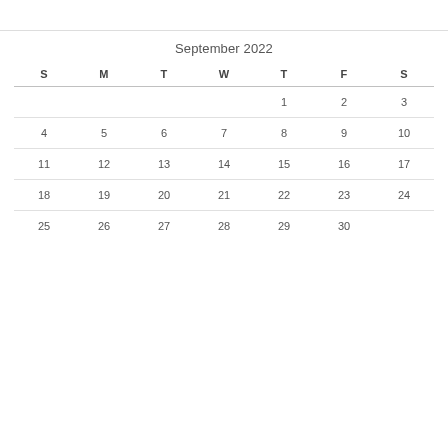September 2022
| S | M | T | W | T | F | S |
| --- | --- | --- | --- | --- | --- | --- |
|  |  |  |  | 1 | 2 | 3 |
| 4 | 5 | 6 | 7 | 8 | 9 | 10 |
| 11 | 12 | 13 | 14 | 15 | 16 | 17 |
| 18 | 19 | 20 | 21 | 22 | 23 | 24 |
| 25 | 26 | 27 | 28 | 29 | 30 |  |